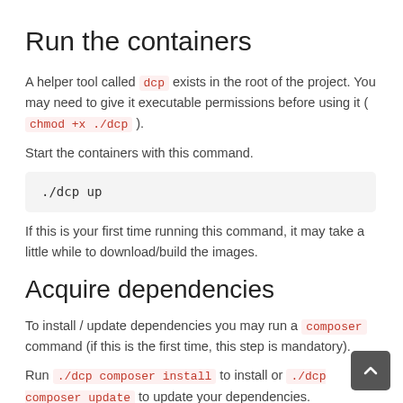Run the containers
A helper tool called dcp exists in the root of the project. You may need to give it executable permissions before using it ( chmod +x ./dcp ).
Start the containers with this command.
./dcp up
If this is your first time running this command, it may take a little while to download/build the images.
Acquire dependencies
To install / update dependencies you may run a composer command (if this is the first time, this step is mandatory).
Run ./dcp composer install to install or ./dcp composer update to update your dependencies.